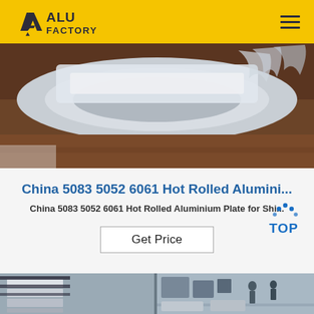ALU FACTORY
[Figure (photo): Close-up of a rolled aluminium coil/sheet on a wooden surface, partially wrapped in plastic film, showing metallic silver reflective surface]
China 5083 5052 6061 Hot Rolled Alumini...
China 5083 5052 6061 Hot Rolled Aluminium Plate for Shi...
Get Price
[Figure (photo): Bottom strip showing aluminium plates/sheets in an industrial factory setting, two panels side by side]